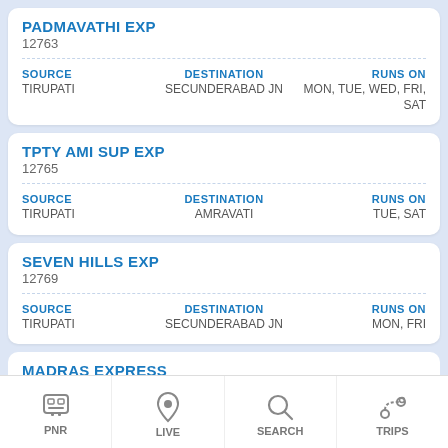PADMAVATHI EXP
12763
| SOURCE | DESTINATION | RUNS ON |
| --- | --- | --- |
| TIRUPATI | SECUNDERABAD JN | MON, TUE, WED, FRI, SAT |
TPTY AMI SUP EXP
12765
| SOURCE | DESTINATION | RUNS ON |
| --- | --- | --- |
| TIRUPATI | AMRAVATI | TUE, SAT |
SEVEN HILLS EXP
12769
| SOURCE | DESTINATION | RUNS ON |
| --- | --- | --- |
| TIRUPATI | SECUNDERABAD JN | MON, FRI |
MADRAS EXPRESS
1005
PNR  LIVE  SEARCH  TRIPS